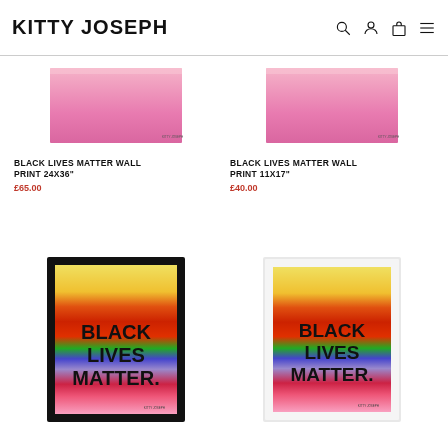KITTY JOSEPH
[Figure (photo): Black Lives Matter wall print pink/gradient, 24x36 inch, top portion cropped]
BLACK LIVES MATTER WALL PRINT 24x36"
£65.00
[Figure (photo): Black Lives Matter wall print pink/gradient, 11x17 inch, top portion cropped]
BLACK LIVES MATTER WALL PRINT 11x17"
£40.00
[Figure (photo): Black Lives Matter rainbow gradient print in black frame]
[Figure (photo): Black Lives Matter rainbow gradient print in white frame]